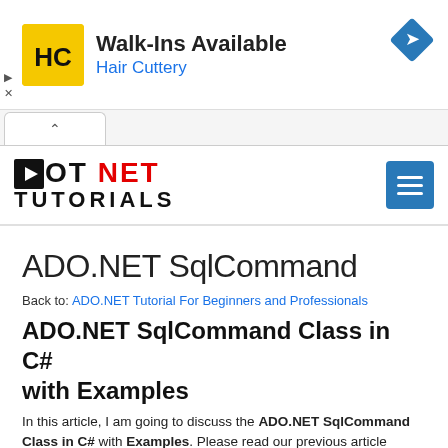[Figure (infographic): Advertisement banner for Hair Cuttery salon: yellow square logo with HC letters, text 'Walk-Ins Available' and 'Hair Cuttery' in blue, blue diamond arrow icon on right, play/close controls on left]
[Figure (logo): Dot Net Tutorials website logo: DOT NET in red/black bold uppercase letters with play button icon, TUTORIALS in black bold letters below. Blue hamburger menu button on right.]
ADO.NET SqlCommand
Back to: ADO.NET Tutorial For Beginners and Professionals
ADO.NET SqlCommand Class in C# with Examples
In this article, I am going to discuss the ADO.NET SqlCommand Class in C# with Examples. Please read our previous article where we discuss the